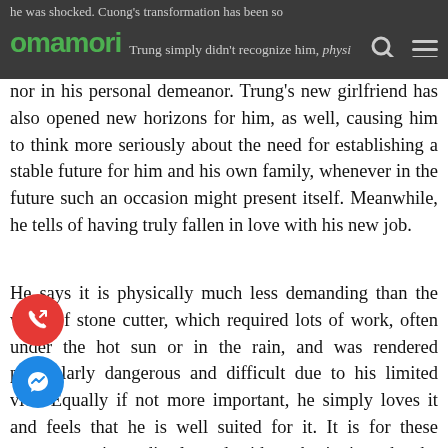he was shocked. Cuong's transformation has been so... Trung simply didn't recognize him, physically nor in his personal demeanor.
Trung's new girlfriend has also opened new horizons for him, as well, causing him to think more seriously about the need for establishing a stable future for him and his own family, whenever in the future such an occasion might present itself. Meanwhile, he tells of having truly fallen in love with his new job.
He says it is physically much less demanding than the work of stone cutter, which required lots of work, often under the hot sun or in the rain, and was rendered particularly dangerous and difficult due to his limited vi... Equally if not more important, he simply loves it and feels that he is well suited for it. It is for these reasons, so immediately and without hesitation, that he truly dreams of becoming one of the most highly rated top-notch therapists at Omamori.